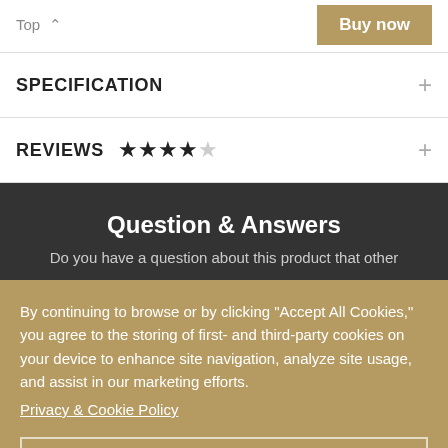Top ^
Buy now
SPECIFICATION
REVIEWS ★★★★☆
Question & Answers
Do you have a question about this product that other
By continuing to browse or by clicking "Accept All Cookies," you agree to the storing of first- and third-party cookies on your device to enhance site navigation, analyze site usage, and assist in our marketing efforts. Privacy & Cookie Policy
Accept All Cookies